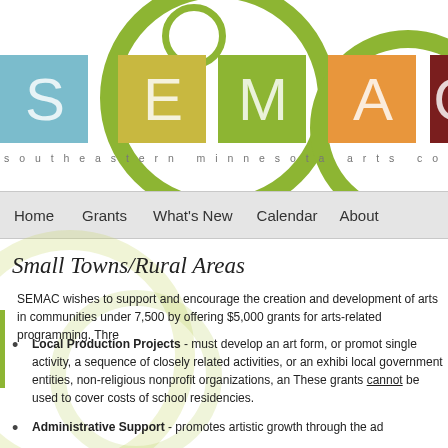[Figure (logo): SEMAC logo with colored letter tiles (S=teal, E=yellow, M=green, A=orange, C=dark red), decorative olive-green circles, and the text 'southeastern minnesota arts council' below]
Home   Grants   What's New   Calendar   About
Small Towns/Rural Areas
SEMAC wishes to support and encourage the creation and development of arts in communities under 7,500 by offering $5,000 grants for arts-related programming. Three types of grants are offered:
Local Production Projects - must develop an art form, or promote the arts through a single activity, a sequence of closely related activities, or an exhibit. Eligible applicants: local government entities, non-religious nonprofit organizations, and tribal governments. These grants cannot be used to cover costs of school residencies.
Administrative Support - promotes artistic growth through the ad...